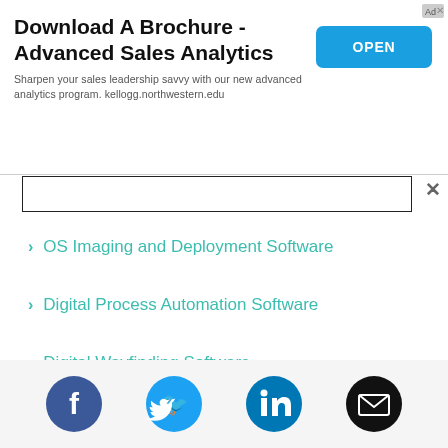[Figure (other): Advertisement banner: 'Download A Brochure - Advanced Sales Analytics' with OPEN button. Text: 'Sharpen your sales leadership savvy with our new advanced analytics program. kellogg.northwestern.edu']
OS Imaging and Deployment Software
Digital Process Automation Software
Digital Wayfinding Software
Email Verification Software
Handwritten Notes Software
Online Fax Software
[Figure (other): Social media icons row: Facebook (blue circle), Twitter (blue circle), LinkedIn (blue circle), Email (black circle)]